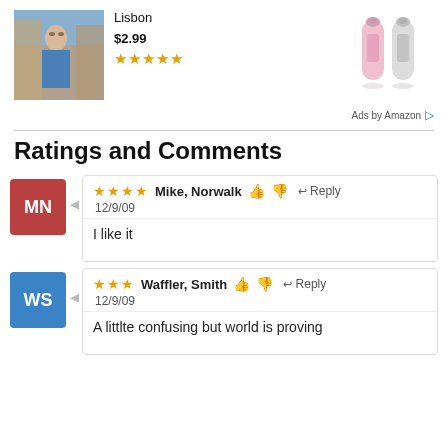[Figure (photo): Ad: Book cover photo of a man on a street in Lisbon]
Lisbon
$2.99
★★★★★
[Figure (photo): Ad: Two pink/silver perfume atomizer bottles]
Ads by Amazon
Ratings and Comments
★★★★ Mike, Norwalk 👍 👎 ↩Reply
12/9/09
I like it
★★★ Waffler, Smith 👍 👎 ↩Reply
12/9/09
A littlte confusing but world is proving